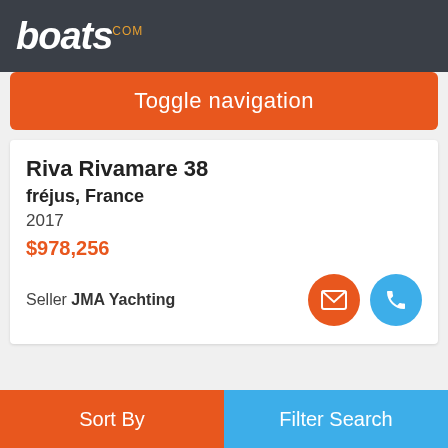boats.com
Toggle navigation
Riva Rivamare 38
fréjus, France
2017
$978,256
Seller JMA Yachting
Advertisement
Sort By   Filter Search